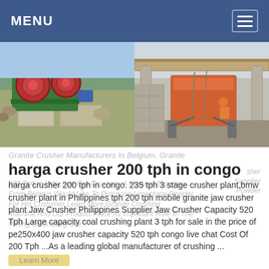MENU
[Figure (photo): Two side-by-side photos of stone crushing machinery equipment at a quarry/construction site. Left photo shows green and red industrial grinding/crushing machines with large wheels. Right photo shows an orange/red jaw crusher or similar heavy equipment under a corrugated roof shelter.]
Granite Crusher Manufacturers In Belgium. Granite harga crusher 200 tph in congo
harga crusher 200 tph in congo. 235 tph 3 stage crusher plant,bmw crusher plant in Philippines tph 200 tph mobile granite jaw crusher plant Jaw Crusher Philippines Supplier Jaw Crusher Capacity 520 Tph Large capacity coal crushing plant 3 tph for sale in the price of pe250x400 jaw crusher capacity 520 tph congo live chat Cost Of 200 Tph ...As a leading global manufacturer of crushing ...